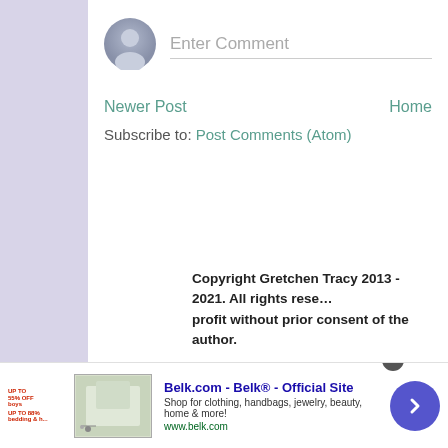[Figure (other): User avatar placeholder circle icon with person silhouette in gray/blue tones]
Enter Comment
Newer Post
Home
Subscribe to: Post Comments (Atom)
Copyright Gretchen Tracy 2013 - 2021. All rights reserved. Content may not be used for profit without prior consent of the author.
[Figure (screenshot): Advertisement banner for Belk.com - Belk Official Site. Shop for clothing, handbags, jewelry, beauty, home & more! www.belk.com]